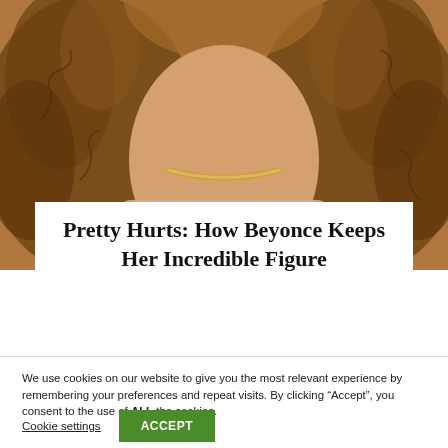[Figure (photo): Close-up photo of a woman with curly golden-brown hair wearing a gold chain necklace and a light-colored jacket/blazer, cropped to show neck and hair area]
Pretty Hurts: How Beyonce Keeps Her Incredible Figure
We use cookies on our website to give you the most relevant experience by remembering your preferences and repeat visits. By clicking “Accept”, you consent to the use of ALL the cookies.
Cookie settings | ACCEPT